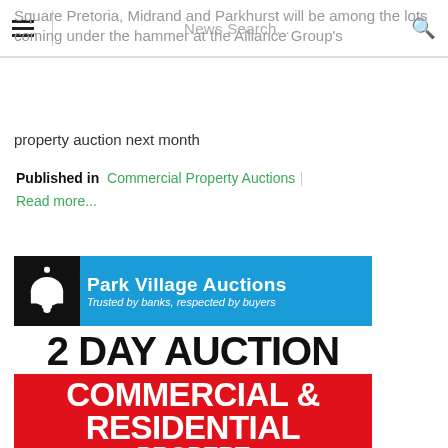News Search...
Square Pretoria, Midrand and Parkhurst will be among the lots coming under the hammer at the Alliance Group's property auction next month
Published in  Commercial Property Auctions
Read more...
[Figure (advertisement): Park Village Auctions advertisement: logo with bell icon, blue banner reading 'Park Village Auctions - Trusted by banks, respected by buyers', large text '2 DAY AUCTION', red block with 'COMMERCIAL & RESIDENTIAL PROPERTY...' in white bold text]